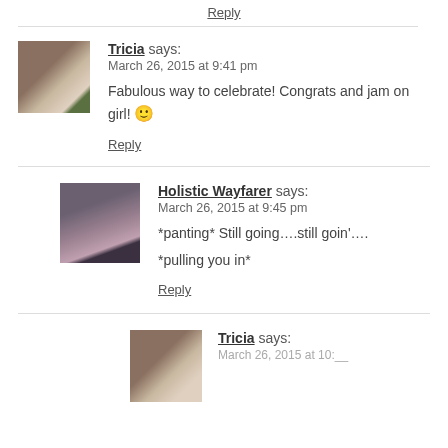Reply
Tricia says: March 26, 2015 at 9:41 pm
Fabulous way to celebrate! Congrats and jam on girl! 🙂
Reply
Holistic Wayfarer says: March 26, 2015 at 9:45 pm
*panting* Still going….still goin'….
*pulling you in*
Reply
Tricia says: